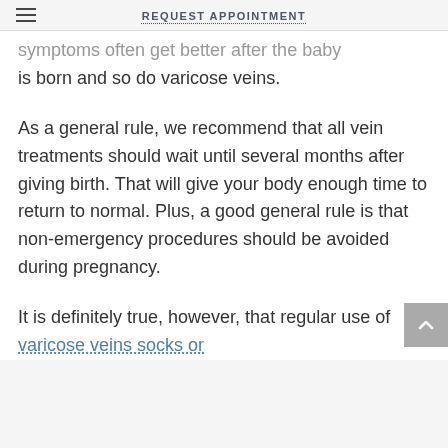REQUEST APPOINTMENT
symptoms often get better after the baby is born and so do varicose veins.
As a general rule, we recommend that all vein treatments should wait until several months after giving birth. That will give your body enough time to return to normal. Plus, a good general rule is that non-emergency procedures should be avoided during pregnancy.
It is definitely true, however, that regular use of varicose veins socks or